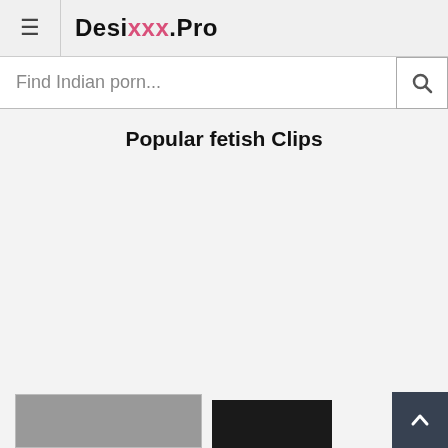≡ Desixxx.Pro
Find Indian porn...
Popular fetish Clips
[Figure (screenshot): Thumbnail images partially visible at bottom of page]
[Figure (other): Back to top button with upward chevron arrow, dark background]